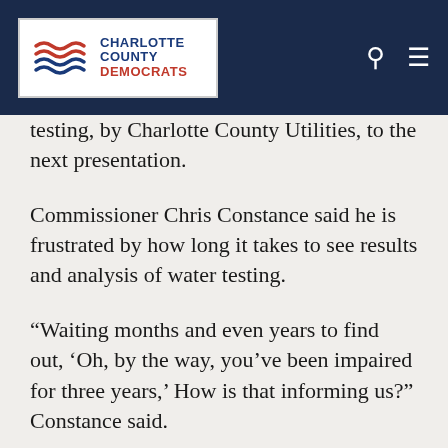Charlotte County Democrats
testing, by Charlotte County Utilities, to the next presentation.
Commissioner Chris Constance said he is frustrated by how long it takes to see results and analysis of water testing.
“Waiting months and even years to find out, ‘Oh, by the way, you’ve been impaired for three years,’ How is that informing us?” Constance said.
Moody ended his presentation saying he did not want to be only gloom and doom.
“I don’t want to end on this note that it’s